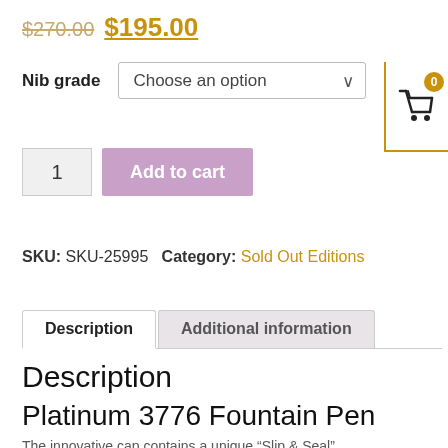$270.00 $195.00
Nib grade   Choose an option
1   Add to cart
SKU: SKU-25995 Category: Sold Out Editions
Description   Additional information
Description
Platinum 3776 Fountain Pen
The innovative cap contains a unique “Slip & Seal”